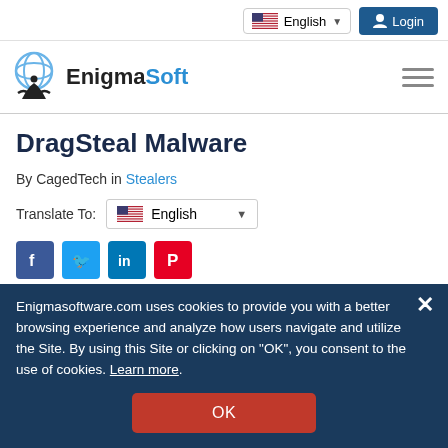English | Login
[Figure (logo): EnigmaSoft logo with globe and figure icon, text 'EnigmaSoft' in black and blue]
DragSteal Malware
By CagedTech in Stealers
Translate To: English
[Figure (other): Social media share buttons: Facebook, Twitter, LinkedIn, Pinterest]
Enigmasoftware.com uses cookies to provide you with a better browsing experience and analyze how users navigate and utilize the Site. By using this Site or clicking on "OK", you consent to the use of cookies. Learn more.